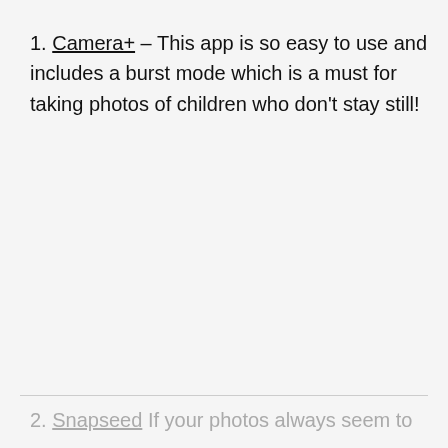1. Camera+ – This app is so easy to use and includes a burst mode which is a must for taking photos of children who don't stay still!
2. Snapseed If your photos always seem to